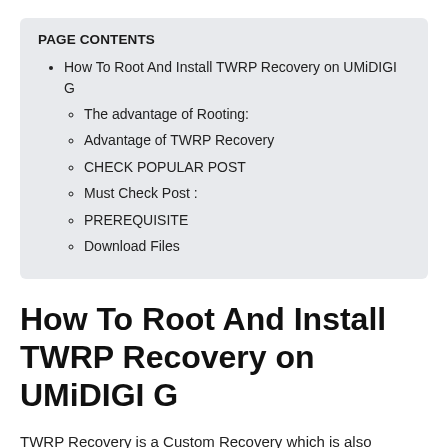PAGE CONTENTS
How To Root And Install TWRP Recovery on UMiDIGI G
The advantage of Rooting:
Advantage of TWRP Recovery
CHECK POPULAR POST
Must Check Post :
PREREQUISITE
Download Files
How To Root And Install TWRP Recovery on UMiDIGI G
TWRP Recovery is a Custom Recovery which is also